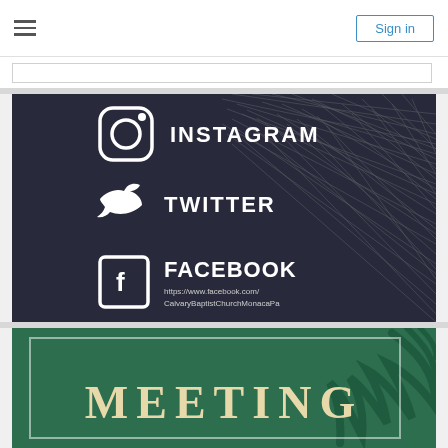☰  Sign in
[Figure (screenshot): Social media banner with dark background showing streaking light effect. Contains Instagram icon and text 'INSTAGRAM', Twitter bird icon and text 'TWITTER', Facebook icon and text 'FACEBOOK' with URL 'https://www.facebook.com/CalvaryBaptistChurchMonacaPa']
[Figure (illustration): Green background meeting banner with gold 'MEETING' text and palm leaf decoration, surrounded by a white-bordered inner frame]